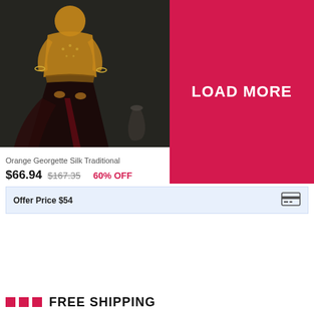[Figure (photo): Woman wearing an orange georgette silk traditional dress with dark long skirt]
[Figure (other): Pink/red background panel with LOAD MORE button text]
Orange Georgette Silk Traditional
$66.94  $167.35  60% OFF
Offer Price $54
FREE SHIPPING